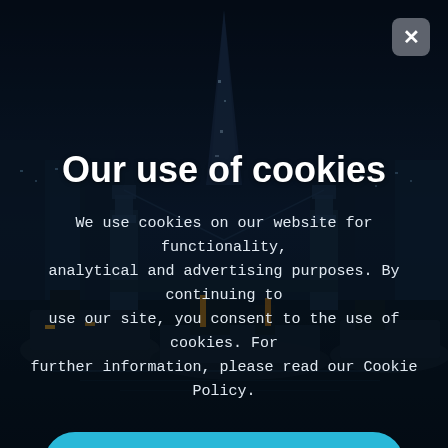[Figure (photo): Dark nighttime cityscape of London showing The Shard skyscraper and Tower Bridge with boats on the Thames river, used as background image]
Our use of cookies
We use cookies on our website for functionality, analytical and advertising purposes. By continuing to use our site, you consent to the use of cookies. For further information, please read our Cookie Policy.
Cookie Policy
I Accept